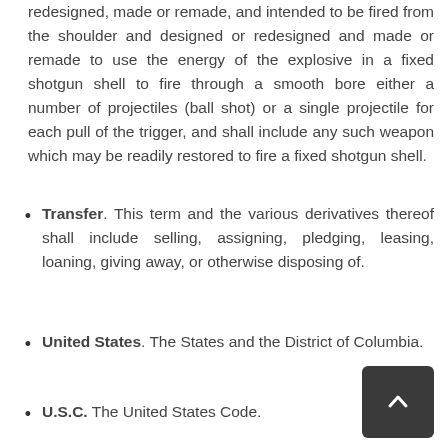redesigned, made or remade, and intended to be fired from the shoulder and designed or redesigned and made or remade to use the energy of the explosive in a fixed shotgun shell to fire through a smooth bore either a number of projectiles (ball shot) or a single projectile for each pull of the trigger, and shall include any such weapon which may be readily restored to fire a fixed shotgun shell.
Transfer. This term and the various derivatives thereof shall include selling, assigning, pledging, leasing, loaning, giving away, or otherwise disposing of.
United States. The States and the District of Columbia.
U.S.C. The United States Code.